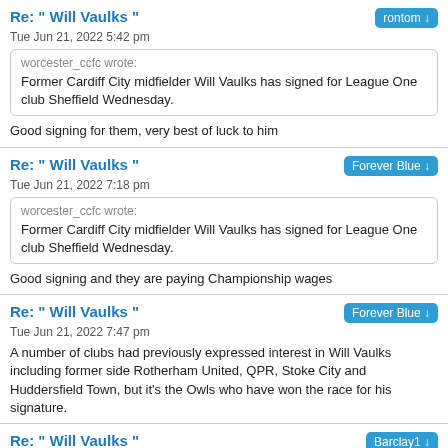Re: " Will Vaulks "
Tue Jun 21, 2022 5:42 pm
worcester_ccfc wrote:
Former Cardiff City midfielder Will Vaulks has signed for League One club Sheffield Wednesday.
Good signing for them, very best of luck to him
Re: " Will Vaulks "
Tue Jun 21, 2022 7:18 pm
worcester_ccfc wrote:
Former Cardiff City midfielder Will Vaulks has signed for League One club Sheffield Wednesday.
Good signing and they are paying Championship wages
Re: " Will Vaulks "
Tue Jun 21, 2022 7:47 pm
A number of clubs had previously expressed interest in Will Vaulks including former side Rotherham United, QPR, Stoke City and Huddersfield Town, but it's the Owls who have won the race for his signature.
Re: " Will Vaulks "